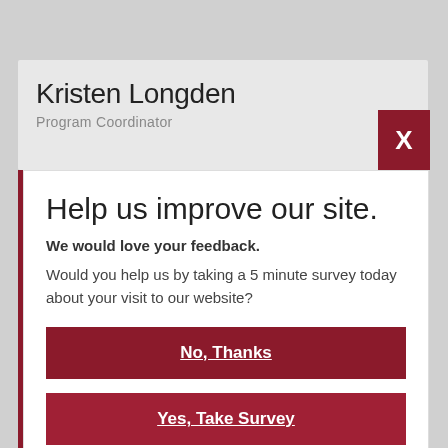Kristen Longden
Program Coordinator
Help us improve our site.
We would love your feedback.
Would you help us by taking a 5 minute survey today about your visit to our website?
No, Thanks
Yes, Take Survey